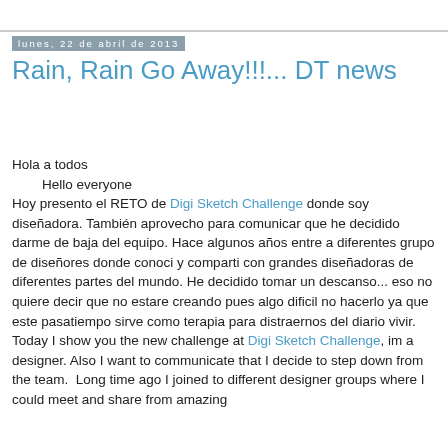lunes, 22 de abril de 2013
Rain, Rain Go Away!!!... DT news
Hola a todos
    Hello everyone
Hoy presento el RETO de Digi Sketch Challenge donde soy diseñadora. También aprovecho para comunicar que he decidido darme de baja del equipo. Hace algunos años entre a diferentes grupo de diseñores donde conoci y comparti con grandes diseñadoras de diferentes partes del mundo. He decidido tomar un descanso... eso no quiere decir que no estare creando pues algo dificil no hacerlo ya que este pasatiempo sirve como terapia para distraernos del diario vivir.
Today I show you the new challenge at Digi Sketch Challenge, im a designer. Also I want to communicate that I decide to step down from the team. Long time ago I joined to different designer groups where I could meet and share from amazing